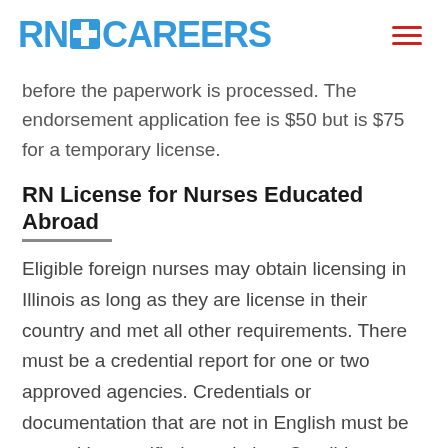RN+ CAREERS
before the paperwork is processed. The endorsement application fee is $50 but is $75 for a temporary license.
RN License for Nurses Educated Abroad
Eligible foreign nurses may obtain licensing in Illinois as long as they are license in their country and met all other requirements. There must be a credential report for one or two approved agencies. Credentials or documentation that are not in English must be sent with a certified translation. Candidates